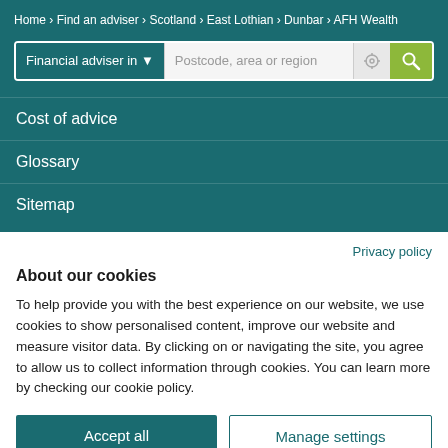Home > Find an adviser > Scotland > East Lothian > Dunbar > AFH Wealth
Financial adviser in ▼  Postcode, area or region
Cost of advice
Glossary
Sitemap
Privacy policy
About our cookies
To help provide you with the best experience on our website, we use cookies to show personalised content, improve our website and measure visitor data. By clicking on or navigating the site, you agree to allow us to collect information through cookies. You can learn more by checking our cookie policy.
Accept all
Manage settings